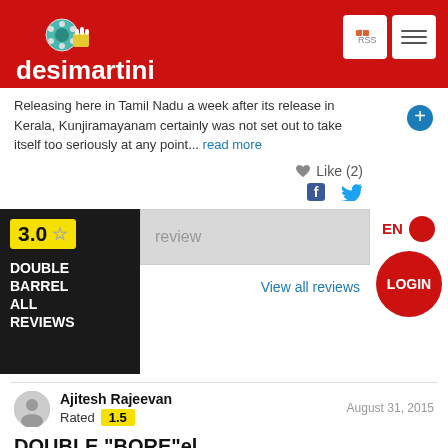[Figure (logo): Desimartini website header logo with film reel and popcorn icon, red background]
Releasing here in Tamil Nadu a week after its release in Kerala, Kunjiramayanam certainly was not set out to take itself too seriously at any point... read more
♥ Like (2)
[Figure (infographic): 3.0 star rating card for DOUBLE BARREL ALL REVIEWS with review input box and View all reviews link]
Ajitesh Rajeevan
Rated 1.5
August 31, 2015
DOUBLE "BORE"el.
Verdict - Target missed.
The movie started out with Stanley Kubrick's quote, "If it can